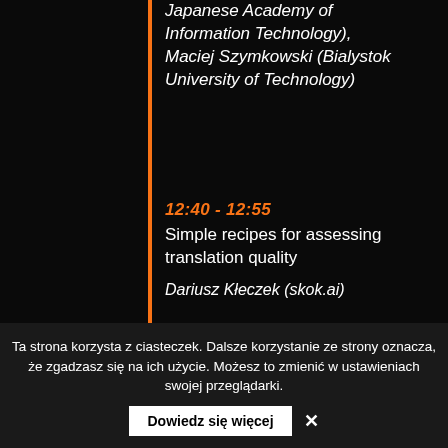Japanese Academy of Information Technology), Maciej Szymkowski (Bialystok University of Technology)
12:40 - 12:55
Simple recipes for assessing translation quality

Dariusz Kłeczek (skok.ai)
12:55 - 13:10
Transformer as Machine Translation Evaluation Metrics

Krzysztof Wróbel (Enelpol, UJ, AGH)
Ta strona korzysta z ciasteczek. Dalsze korzystanie ze strony oznacza, że zgadzasz się na ich użycie. Możesz to zmienić w ustawieniach swojej przeglądarki.